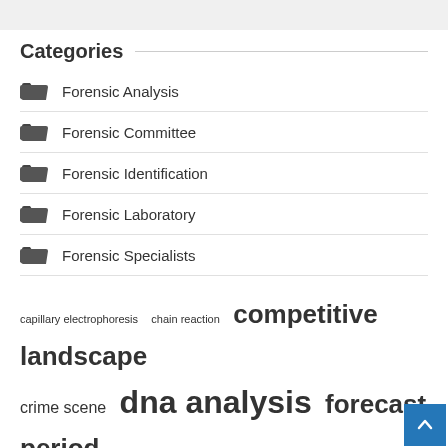Categories
Forensic Analysis
Forensic Committee
Forensic Identification
Forensic Laboratory
Forensic Specialists
capillary electrophoresis  chain reaction  competitive landscape  crime scene  dna analysis  forecast period  forensic laboratories  forensic laborato…  forensic medicine  forensic science